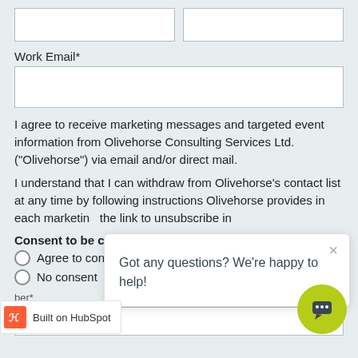[Figure (screenshot): Two empty text input boxes side by side at top of form]
Work Email*
[Figure (screenshot): Wide empty text input box for work email]
I agree to receive marketing messages and targeted event information from Olivehorse Consulting Services Ltd. ("Olivehorse") via email and/or direct mail.
I understand that I can withdraw from Olivehorse's contact list at any time by following instructions Olivehorse provides in each marketing the link to unsubscribe in
Consent to be contacted*
Agree to consent
No consent
ber*
[Figure (screenshot): Chat popup: Got any questions? We're happy to help! with X close button]
[Figure (screenshot): HubSpot branding bar: orange icon and 'Built on HubSpot' text]
[Figure (screenshot): Lime green circular chat button with speech bubble icon]